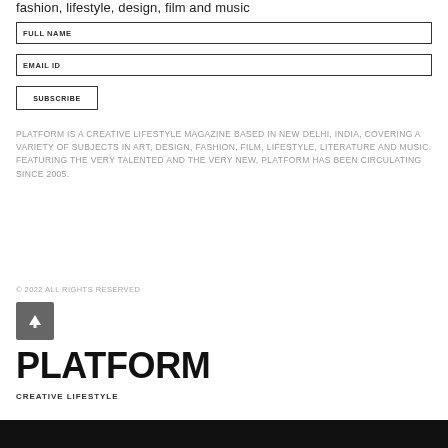fashion, lifestyle, design, film and music
FULL NAME
EMAIL ID
SUBSCRIBE
PLATFORM IS A CREATIVE LIFESTYLE MAGAZINE BASED IN NEW DELHI, INDIA, COVERING A VARIETY OF SUBJECTS IN ART, DESIGN, FASHION, FILM, LIFESTYLE, LITERATURE AND MUSIC. FEATURING THE VERY TALENTED AND THE VERY NEW, PLATFORM HAS BEEN CIRCULATING SINCE 2005.
© 2022 ALL RIGHTS RESERVED
PLATFORM
CREATIVE LIFESTYLE